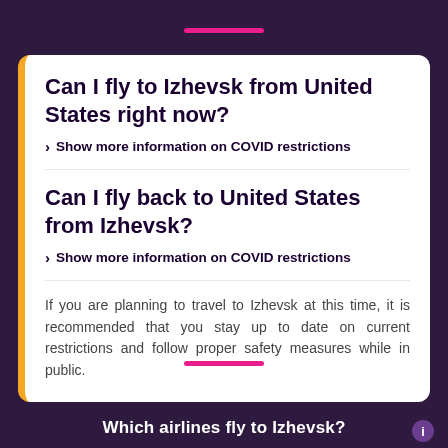Can I fly to Izhevsk from United States right now?
> Show more information on COVID restrictions
Can I fly back to United States from Izhevsk?
> Show more information on COVID restrictions
If you are planning to travel to Izhevsk at this time, it is recommended that you stay up to date on current restrictions and follow proper safety measures while in public.
Which airlines fly to Izhevsk?